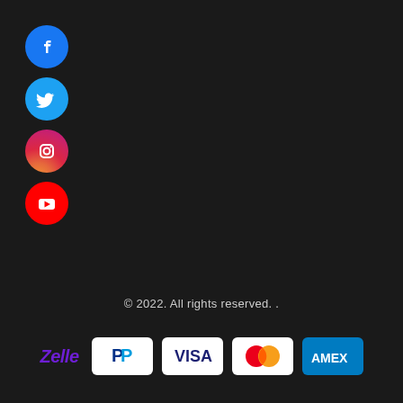[Figure (logo): Social media icons: Facebook (blue circle), Twitter (cyan circle), Instagram (gradient circle), YouTube (red circle), stacked vertically]
© 2022. All rights reserved. .
[Figure (logo): Payment method logos: Zelle (purple italic text), PayPal (white badge with P logo), Visa (white badge), Mastercard (white badge with red and orange circles), Amex (blue badge)]